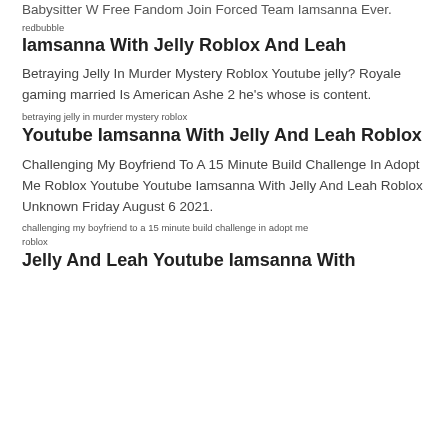Babysitter W Free Fandom Join Forced Team Iamsanna Ever.
redbubble
Iamsanna With Jelly Roblox And Leah
Betraying Jelly In Murder Mystery Roblox Youtube jelly? Royale gaming married Is American Ashe 2 he's whose is content.
betraying jelly in murder mystery roblox
Youtube Iamsanna With Jelly And Leah Roblox
Challenging My Boyfriend To A 15 Minute Build Challenge In Adopt Me Roblox Youtube Youtube Iamsanna With Jelly And Leah Roblox Unknown Friday August 6 2021.
challenging my boyfriend to a 15 minute build challenge in adopt me roblox
Jelly And Leah Youtube Iamsanna With